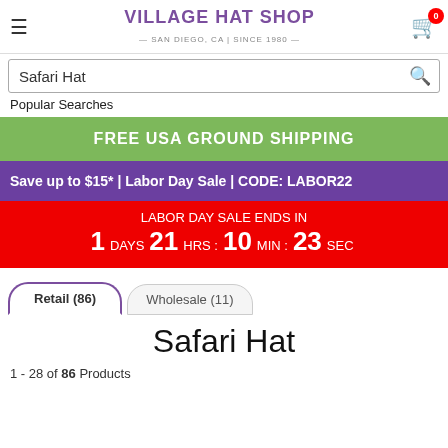VILLAGE HAT SHOP — SAN DIEGO, CA | SINCE 1980
Safari Hat [search bar]
Popular Searches
FREE USA GROUND SHIPPING
Save up to $15* | Labor Day Sale | CODE: LABOR22
LABOR DAY SALE ENDS IN 1 DAYS 21 HRS : 10 MIN : 23 SEC
Retail (86)  Wholesale (11)
Safari Hat
1 - 28 of 86 Products